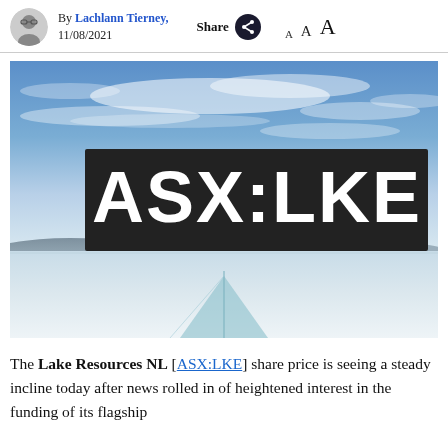By Lachlann Tierney, 11/08/2021  Share  A A A
[Figure (photo): Salt flat landscape with blue sky and wispy clouds; overlaid black rectangle with bold white text reading ASX:LKE]
The Lake Resources NL [ASX:LKE] share price is seeing a steady incline today after news rolled in of heightened interest in the funding of its flagship